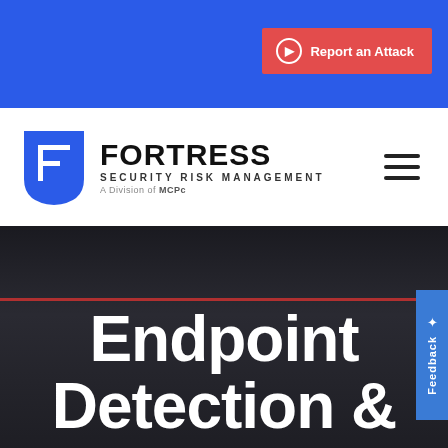Report an Attack
[Figure (logo): Fortress Security Risk Management logo - shield with F letter, company name and 'A Division of MCPc' tagline]
Endpoint Detection &